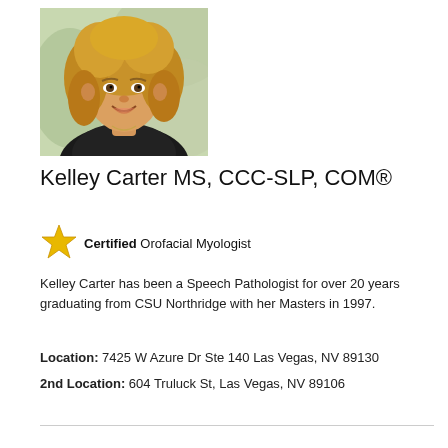[Figure (photo): Headshot photo of Kelley Carter, a woman with curly blonde hair, smiling, wearing a dark top, outdoor background.]
Kelley Carter MS, CCC-SLP, COM®
★ Certified Orofacial Myologist
Kelley Carter has been a Speech Pathologist for over 20 years graduating from CSU Northridge with her Masters in 1997.
Location: 7425 W Azure Dr Ste 140 Las Vegas, NV 89130
2nd Location: 604 Truluck St, Las Vegas, NV 89106